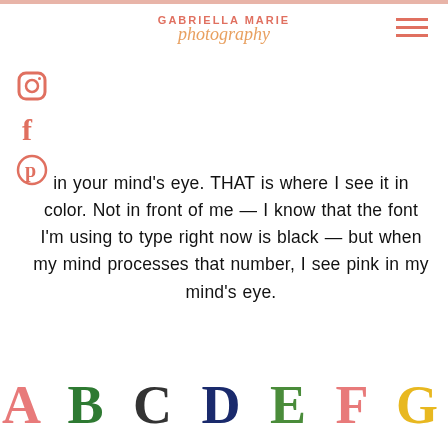GABRIELLA MARIE photography
[Figure (logo): Social media icons: Instagram camera icon, Facebook f icon, Pinterest P icon, arranged vertically on the left side]
in your mind's eye. THAT is where I see it in color. Not in front of me — I know that the font I'm using to type right now is black — but when my mind processes that number, I see pink in my mind's eye.
A B C D E F G